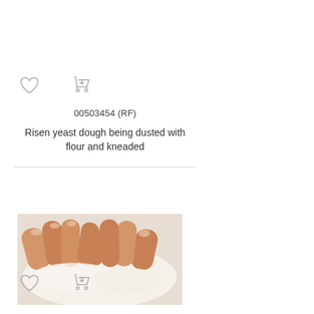[Figure (other): Heart (favorite) icon and shopping cart icon, top row]
00503454 (RF)
Risen yeast dough being dusted with flour and kneaded
[Figure (photo): Close-up photo of hands kneading dough dusted with flour]
[Figure (other): Heart (favorite) icon and shopping cart icon, bottom row]